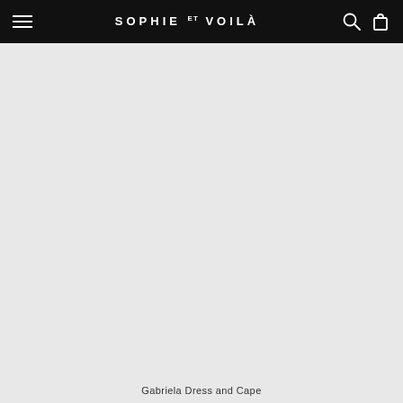SOPHIE ET VOILÀ
[Figure (photo): Large product image area showing a fashion item (Gabriela Dress and Cape) on a light grey background. The image area appears blank/loading.]
Gabriela Dress and Cape